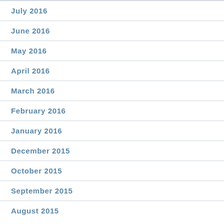July 2016
June 2016
May 2016
April 2016
March 2016
February 2016
January 2016
December 2015
October 2015
September 2015
August 2015